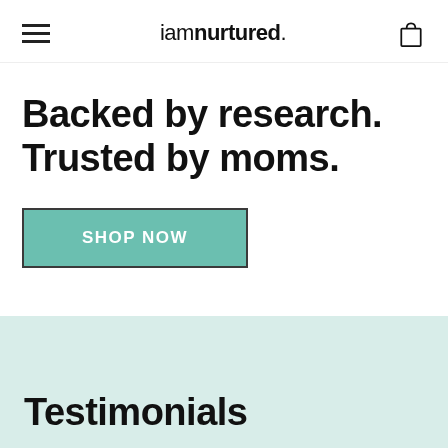iamnurtured.
Backed by research. Trusted by moms.
SHOP NOW
Testimonials